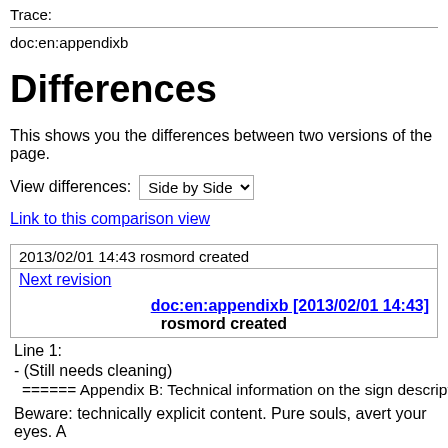Trace:
doc:en:appendixb
Differences
This shows you the differences between two versions of the page.
View differences: Side by Side
Link to this comparison view
| 2013/02/01 14:43 rosmord created |
| Next revision |
| doc:en:appendixb [2013/02/01 14:43] |
| rosmord created |
Line 1:
- (Still needs cleaning)
====== Appendix B: Technical information on the sign descriptio...
Beware: technically explicit content. Pure souls, avert your eyes. A